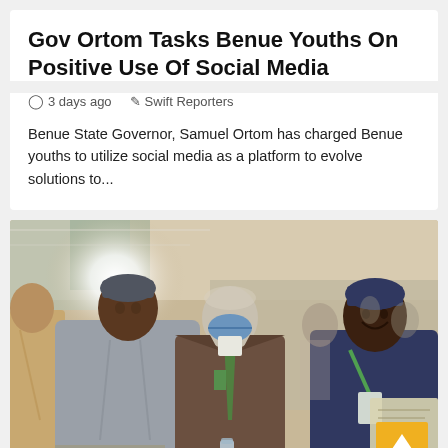Gov Ortom Tasks Benue Youths On Positive Use Of Social Media
3 days ago   Swift Reporters
Benue State Governor, Samuel Ortom has charged Benue youths to utilize social media as a platform to evolve solutions to...
[Figure (photo): Three men standing and posing at what appears to be an indoor event or conference. The man on the left is wearing a grey traditional Nigerian attire and cap. The man in the center is wearing a brown suit with a green tie and a blue face mask. The man on the right is wearing a dark blue outfit with a green lanyard. The center and left men are shaking hands. The background shows a crowded hall with other attendees and a bright flash of light visible.]